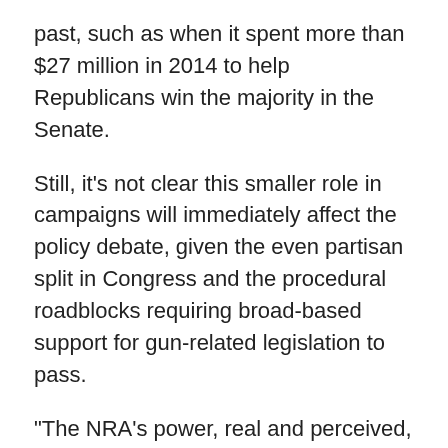past, such as when it spent more than $27 million in 2014 to help Republicans win the majority in the Senate.
Still, it's not clear this smaller role in campaigns will immediately affect the policy debate, given the even partisan split in Congress and the procedural roadblocks requiring broad-based support for gun-related legislation to pass.
“The NRA's power, real and perceived, has always been a function of its standing as an avatar for one of the most vocal and engaged constituencies in all of politics,” said Liam Donovan, a Republican strategist. “A diminished interest group may mean fewer millions being funneled into elections and advocacy campaigns, but it won’t fundamentally alter the political proposition surrounding gun control policy.”